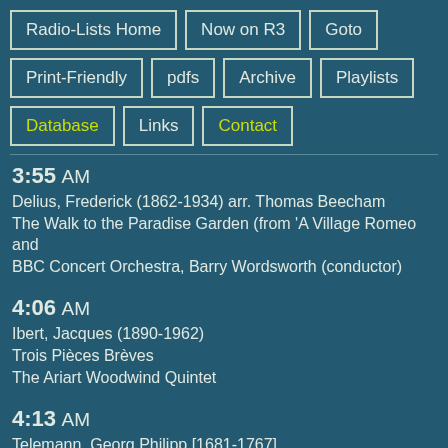Radio-Lists Home
Now on R3
Goto
Print-Friendly
pdfs
Archive
Playlists
Database
Links
Contact
3:55 AM
Delius, Frederick (1862-1934) arr. Thomas Beecham
The Walk to the Paradise Garden (from 'A Village Romeo and
BBC Concert Orchestra, Barry Wordsworth (conductor)
4:06 AM
Ibert, Jacques (1890-1962)
Trois Pièces Brèves
The Ariart Woodwind Quintet
4:13 AM
Telemann, Georg Philipp [1681-1767]
Concerto Polonaise, TWV 43:G4
Arte dei Suonatori
4:22 AM